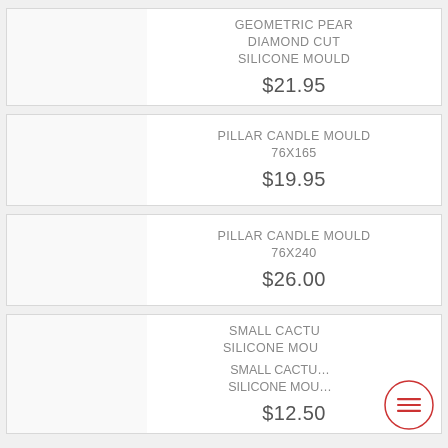GEOMETRIC PEAR DIAMOND CUT SILICONE MOULD
$21.95
PILLAR CANDLE MOULD 76x165
$19.95
PILLAR CANDLE MOULD 76x240
$26.00
SMALL CACTUS SILICONE MOULD
$12.50